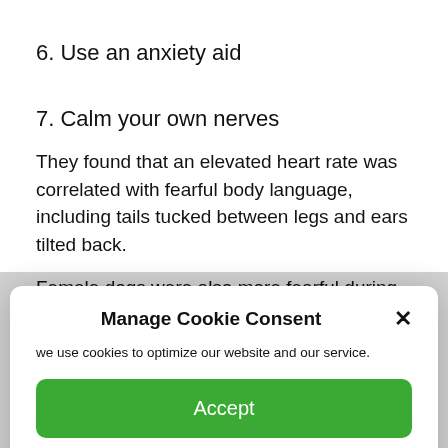6. Use an anxiety aid
7. Calm your own nerves
[Figure (screenshot): Cookie consent popup modal with title 'Manage Cookie Consent', body text 'we use cookies to optimize our website and our service.', a green Accept button, and a green underlined Cookie Policy link. A close X button appears top right.]
They found that an elevated heart rate was correlated with fearful body language, including tails tucked between legs and ears tilted back.
Female dogs were also more fearful during the vet